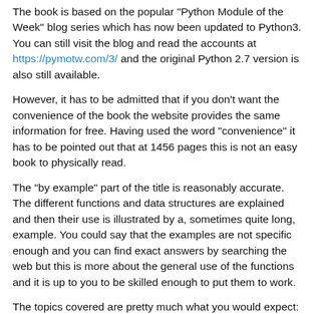The book is based on the popular "Python Module of the Week" blog series which has now been updated to Python3. You can still visit the blog and read the accounts at https://pymotw.com/3/ and the original Python 2.7 version is also still available.
However, it has to be admitted that if you don't want the convenience of the book the website provides the same information for free. Having used the word "convenience" it has to be pointed out that at 1456 pages this is not an easy book to physically read.
The "by example" part of the title is reasonably accurate. The different functions and data structures are explained and then their use is illustrated by a, sometimes quite long, example. You could say that the examples are not specific enough and you can find exact answers by searching the web but this is more about the general use of the functions and it is up to you to be skilled enough to put them to work.
The topics covered are pretty much what you would expect: text. data structures, algorithms, dates and times, mathematics, the file system, data persistence and exchange, data compression and archiving, cryptography, processing and threads, networking, internet, email, application building blocks, internationalization and localization, tools, runtime features, language tools and finally modules and packages.
This is a big book and I certainly haven't read it from cover to cover.